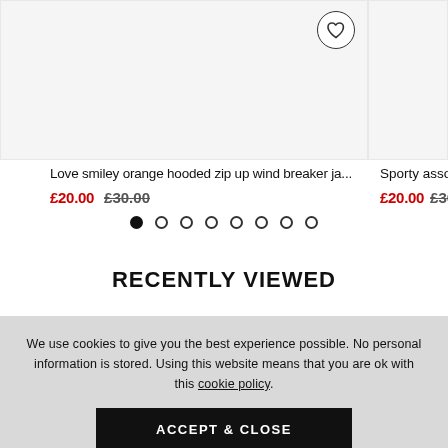[Figure (screenshot): Product card showing a grey background with a heart/wishlist button in a circle at top right]
Love smiley orange hooded zip up wind breaker ja...
£20.00 £30.00
Sporty associ...
£20.00 £30.0...
RECENTLY VIEWED
We use cookies to give you the best experience possible. No personal information is stored. Using this website means that you are ok with this cookie policy.
ACCEPT & CLOSE